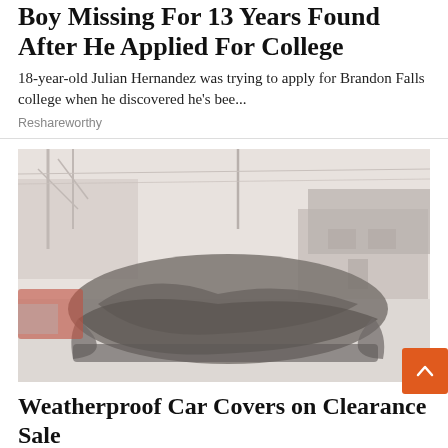Boy Missing For 13 Years Found After He Applied For College
18-year-old Julian Hernandez was trying to apply for Brandon Falls college when he discovered he's bee...
Reshareworthy
[Figure (photo): Washed-out photo of a car covered with a dark cover parked in a residential driveway, bare trees and a house visible in the background]
Weatherproof Car Covers on Clearance Sale
Daily Deal | Sponsored